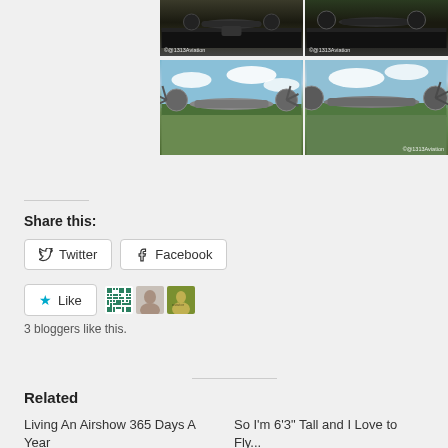[Figure (photo): Two tiltrotor aircraft (V-22 Osprey) on a runway, dark tones, watermark ©@1313Aviation]
[Figure (photo): Two tiltrotor aircraft (V-22 Osprey) on a grassy airfield with cloudy sky, watermark ©@1313Aviation]
Share this:
Twitter
Facebook
Like
3 bloggers like this.
Related
Living An Airshow 365 Days A Year
So I'm 6'3" Tall and I Love to Fly...